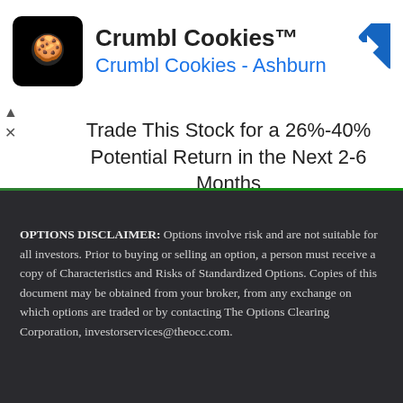[Figure (advertisement): Crumbl Cookies ad banner with logo, brand name, location subtitle, and navigation arrow icon]
Trade This Stock for a 26%-40% Potential Return in the Next 2-6 Months
OPTIONS DISCLAIMER: Options involve risk and are not suitable for all investors. Prior to buying or selling an option, a person must receive a copy of Characteristics and Risks of Standardized Options. Copies of this document may be obtained from your broker, from any exchange on which options are traded or by contacting The Options Clearing Corporation, investorservices@theocc.com.